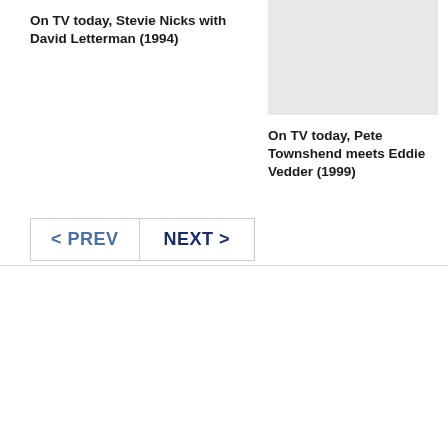On TV today, Stevie Nicks with David Letterman (1994)
[Figure (photo): Image placeholder, light gray background]
On TV today, Pete Townshend meets Eddie Vedder (1999)
< PREV   NEXT >
We use cookies on our website to give you the most relevant experience by remembering your preferences and repeat visits. By clicking "ACCEPT ALL", you consent to the use of ALL the cookies. However, you may visit "Cookie Settings" to provide a controlled consent.
Cookie Settings   REJECT ALL   ACCEPT ALL